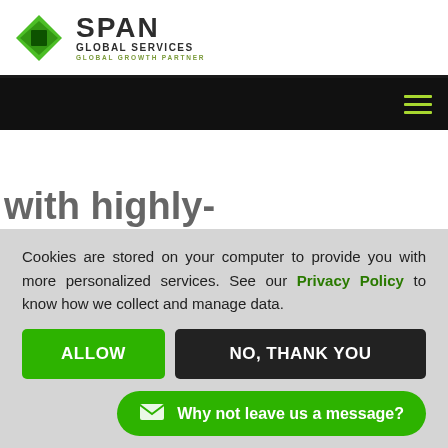[Figure (logo): Span Global Services logo with green diamond shapes and company name]
[Figure (other): Dark navigation bar with hamburger menu icon in top right]
with highly- ar User Contact
businesses with backup and ct decision makers in
Cookies are stored on your computer to provide you with more personalized services. See our Privacy Policy to know how we collect and manage data.
ALLOW
NO, THANK YOU
Why not leave us a message?